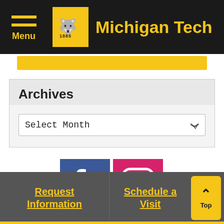Michigan Tech
Archives
Select Month
[Figure (logo): Facebook icon - blue square with white f]
[Figure (logo): Instagram icon - pink/magenta square with white camera outline]
Request Information | Schedule a Visit | Top